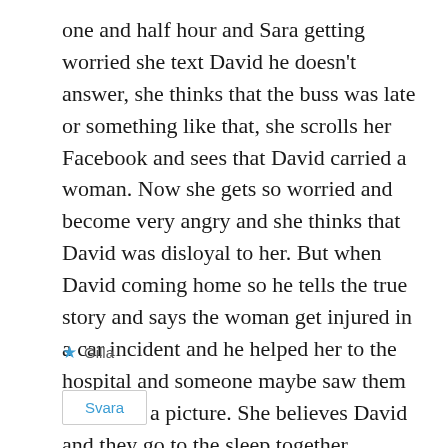one and half hour and Sara getting worried she text David he doesn't answer, she thinks that the buss was late or something like that, she scrolls her Facebook and sees that David carried a woman. Now she gets so worried and become very angry and she thinks that David was disloyal to her. But when David coming home so he tells the true story and says the woman get injured in a car incident and he helped her to the hospital and someone maybe saw them and takes a picture. She believes David and they go to the sleep together.
★ Gilla
Svara